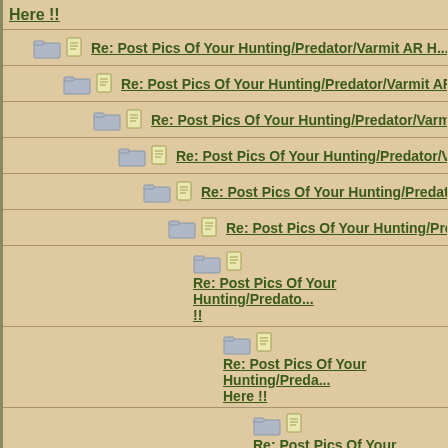Here !!
Re: Post Pics Of Your Hunting/Predator/Varmit AR H...
Re: Post Pics Of Your Hunting/Predator/Varmit AR...
Re: Post Pics Of Your Hunting/Predator/Varmit...
Re: Post Pics Of Your Hunting/Predator/Varm...
Re: Post Pics Of Your Hunting/Predator/Va...
Re: Post Pics Of Your Hunting/Predator/...
Re: Post Pics Of Your Hunting/Predato... !!
Re: Post Pics Of Your Hunting/Preda... Here !!
Re: Post Pics Of Your Hunting/Pre... Here !!
Re: Post Pics Of Your Hunting/P... AR Here !!
Re: Post Pics Of Your Hunting... AR Here !!
Re: Post Pics Of Your Hunting/Predator/Varmit AR Here !!
Re: Post Pics Of Your Hunting/Predator/Varmit AR Here !!